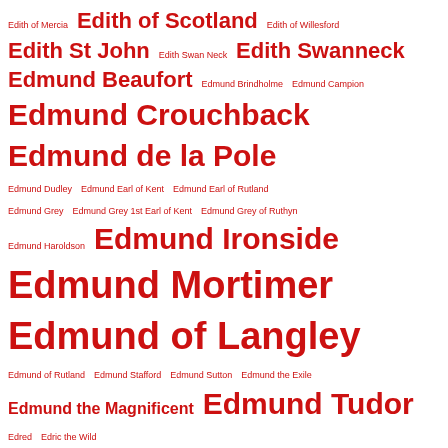Tag cloud index page listing historical figures from Edith of Mercia to Edward Mortimer, with varying font sizes indicating frequency/importance.